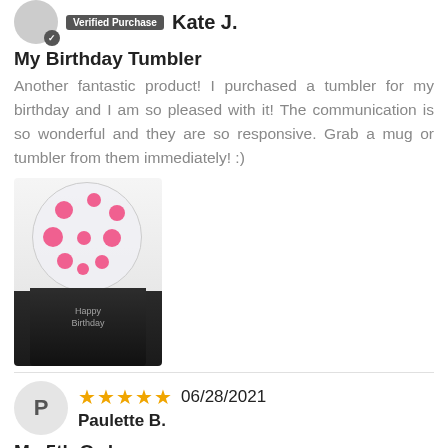Verified Purchase  Kate J.
My Birthday Tumbler
Another fantastic product! I purchased a tumbler for my birthday and I am so pleased with it! The communication is so wonderful and they are so responsive. Grab a mug or tumbler from them immediately! :)
[Figure (photo): Photo of a birthday tumbler with a clear polka-dot balloon on top, black tumbler below with birthday text]
★★★★★  06/28/2021
Paulette B.
My 5th Order
Again, so incredibly happy with our M&K tumbler. It makes for the perfect gift for a priest transferring to a new parish! He loved it!